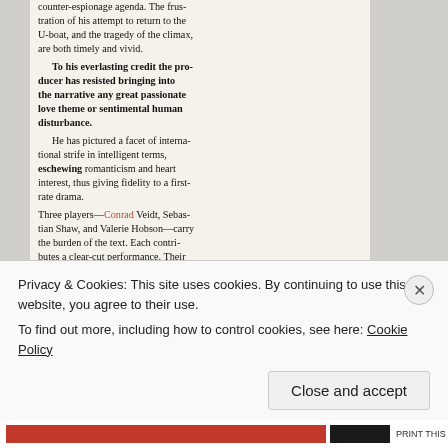counter-espionage agenda. The frustration of his attempt to return to the U-boat, and the tragedy of the climax, are both timely and vivid.
To his everlasting credit the producer has resisted bringing into the narrative any great passionate love theme or sentimental human disturbance.
He has pictured a facet of international strife in intelligent terms, eschewing romanticism and heart interest, thus giving fidelity to a first-rate drama.
Three players—Conrad Veidt, Sebastian Shaw, and Valerie Hobson—carry the burden of the text. Each contributes a clear-cut performance. Their lines are spoken with fine, tremulous courage throughout, and Veidt, a sufferer himself at the hands of the Nazis, is none the less wholeheartedly German in his role of the U-boat's captain.
Others contributing to the general excellence of the film are Athole Stewart, Hay Petrie, June Duprez, and Marius Goring. . . . Bravo Britain.
'THE adventures of the Bumpstead family in "Blondie Brings up Baby," which supports the feature, make
Privacy & Cookies: This site uses cookies. By continuing to use this website, you agree to their use.
To find out more, including how to control cookies, see here: Cookie Policy
Close and accept